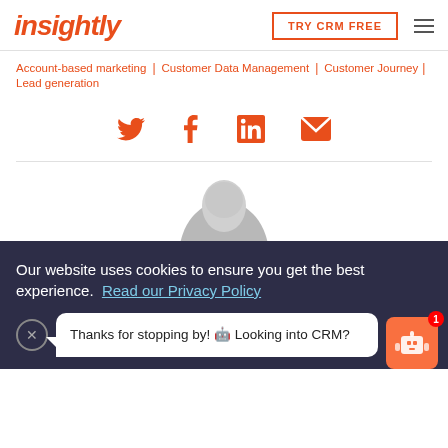insightly | TRY CRM FREE
Account-based marketing | Customer Data Management | Customer Journey | Lead generation
[Figure (other): Social media icons row: Twitter, Facebook, LinkedIn, Email — all in orange]
[Figure (photo): Top of a person's head with light/blonde hair, black and white]
Our website uses cookies to ensure you get the best experience. Read our Privacy Policy
Thanks for stopping by! 🤖 Looking into CRM?